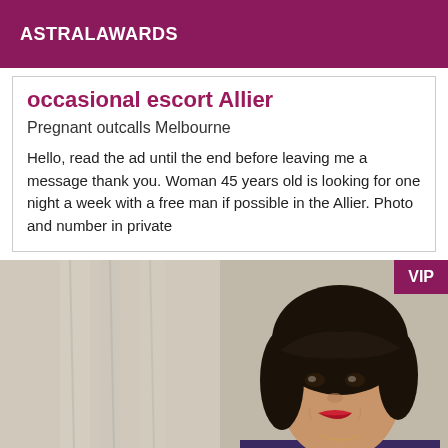ASTRALAWARDS
occasional escort Allier
Pregnant outcalls Melbourne
Hello, read the ad until the end before leaving me a message thank you. Woman 45 years old is looking for one night a week with a free man if possible in the Allier. Photo and number in private
[Figure (photo): Portrait photo of a woman with short dark hair, smiling, wearing a dark top, with a light curtain background. VIP badge in top right corner.]